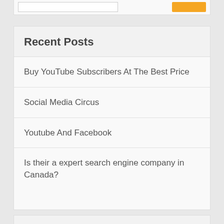Recent Posts
Buy YouTube Subscribers At The Best Price
Social Media Circus
Youtube And Facebook
Is their a expert search engine company in Canada?
Recent Comments